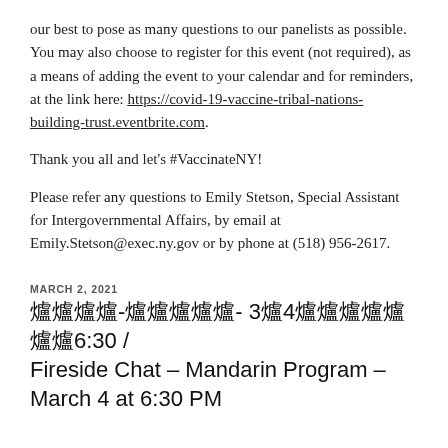our best to pose as many questions to our panelists as possible. You may also choose to register for this event (not required), as a means of adding the event to your calendar and for reminders, at the link here: https://covid-19-vaccine-tribal-nations-building-trust.eventbrite.com.
Thank you all and let's #VaccinateNY!
Please refer any questions to Emily Stetson, Special Assistant for Intergovernmental Affairs, by email at Emily.Stetson@exec.ny.gov or by phone at (518) 956-2617.
MARCH 2, 2021
爐爐爐爐-爐爐爐爐爐- 3爐4爐爐爐爐爐爐爐6:30 / Fireside Chat – Mandarin Program – March 4 at 6:30 PM